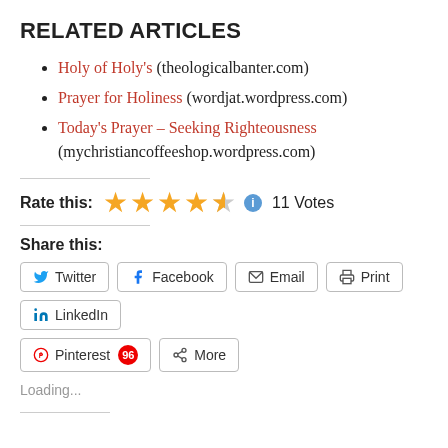RELATED ARTICLES
Holy of Holy's (theologicalbanter.com)
Prayer for Holiness (wordjat.wordpress.com)
Today's Prayer – Seeking Righteousness (mychristiancoffeeshop.wordpress.com)
Rate this: ★★★★½ ℹ 11 Votes
Share this:
Twitter  Facebook  Email  Print  LinkedIn  Pinterest 96  More
Loading...